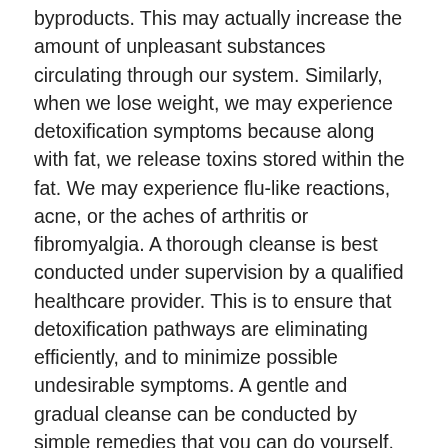byproducts. This may actually increase the amount of unpleasant substances circulating through our system. Similarly, when we lose weight, we may experience detoxification symptoms because along with fat, we release toxins stored within the fat. We may experience flu-like reactions, acne, or the aches of arthritis or fibromyalgia. A thorough cleanse is best conducted under supervision by a qualified healthcare provider. This is to ensure that detoxification pathways are eliminating efficiently, and to minimize possible undesirable symptoms. A gentle and gradual cleanse can be conducted by simple remedies that you can do yourself. Here are helpful tips.
Increase Fibre Intake. Fibre, which is present only in plant foods, is the “Roto-rooter” of the gastrointestinal tract. As it passes through, it carries out toxins, including